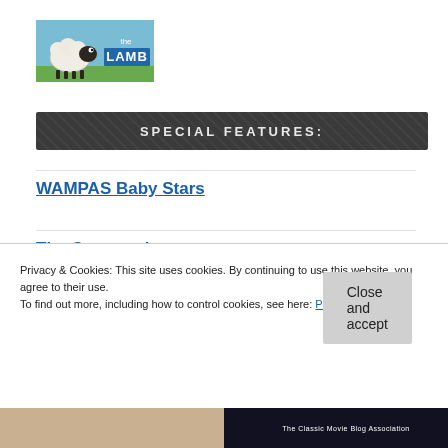[Figure (logo): The LAMB blog logo — cartoon sheep on green/blue background with 'the LAMB' text]
SPECIAL FEATURES:
WAMPAS Baby Stars
The Centenarians
Clark Gable and the Undershirt
Honor Slaying
Privacy & Cookies: This site uses cookies. By continuing to use this website, you agree to their use.
To find out more, including how to control cookies, see here: Privacy Policy
Close and accept